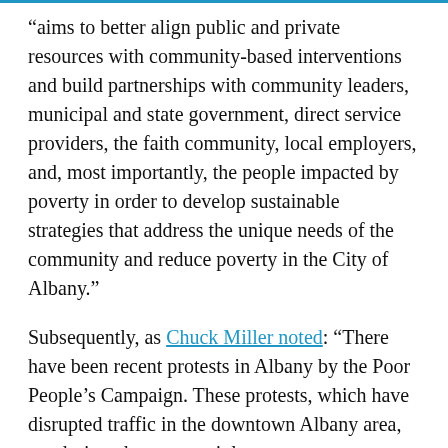“ams to better align public and private resources with community-based interventions and build partnerships with community leaders, municipal and state government, direct service providers, the faith community, local employers, and, most importantly, the people impacted by poverty in order to develop sustainable strategies that address the unique needs of the community and reduce poverty in the City of Albany.”
Subsequently, as Chuck Miller noted: “There have been recent protests in Albany by the Poor People’s Campaign. These protests, which have disrupted traffic in the downtown Albany area, are designed as a non-violent